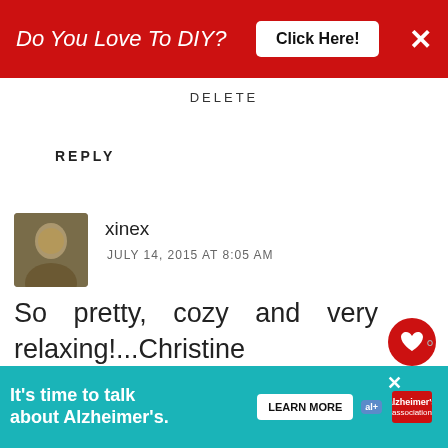[Figure (screenshot): Red banner advertisement: 'Do You Love To DIY?' with Click Here button and X close button]
DELETE
REPLY
[Figure (photo): Avatar photo of commenter xinex, a person outdoors]
xinex
JULY 14, 2015 AT 8:05 AM
So pretty, cozy and very relaxing!...Christine
REPLY DELETE
▾ REPLIES
[Figure (photo): Small circular thumbnail image for What's Next section]
WHAT'S NEXT → Cottage Style Summer...
Kim
[Figure (screenshot): Bottom teal advertisement banner: It's time to talk about Alzheimer's. with Learn More button]
[Figure (logo): Alzheimer's Association logo]